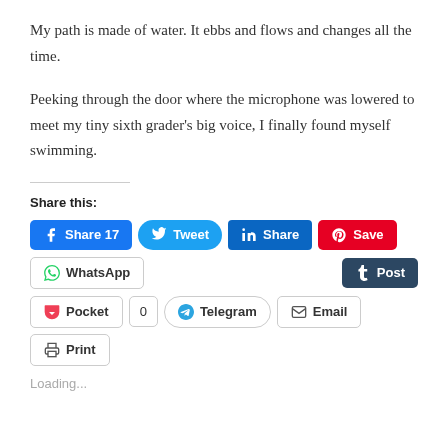My path is made of water. It ebbs and flows and changes all the time.
Peeking through the door where the microphone was lowered to meet my tiny sixth grader’s big voice, I finally found myself swimming.
Share this:
[Figure (screenshot): Social sharing buttons row 1: Facebook Share 17, Tweet, LinkedIn Share, Pinterest Save]
[Figure (screenshot): Social sharing buttons row 2: WhatsApp, Tumblr Post]
[Figure (screenshot): Social sharing buttons row 3: Pocket 0, Telegram, Email, Print]
Loading...